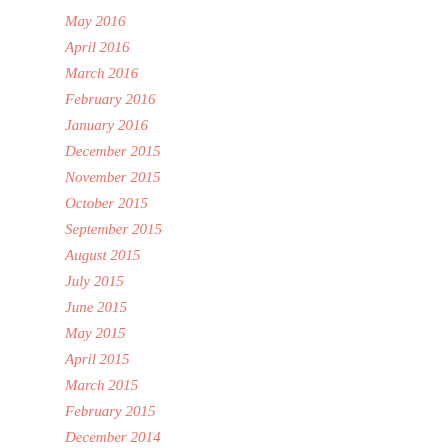May 2016
April 2016
March 2016
February 2016
January 2016
December 2015
November 2015
October 2015
September 2015
August 2015
July 2015
June 2015
May 2015
April 2015
March 2015
February 2015
December 2014
November 2014